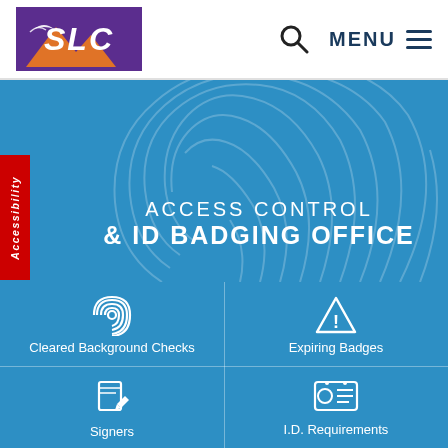[Figure (screenshot): SLC airport logo with purple background, orange mountain/bird graphic and white SLC letters]
MENU
Accessibility
ACCESS CONTROL & ID BADGING OFFICE
Cleared Background Checks
Expiring Badges
Signers
I.D. Requirements